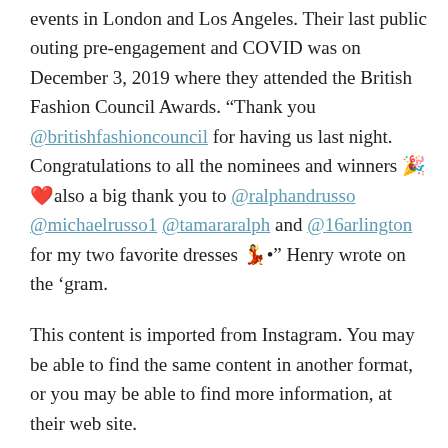events in London and Los Angeles. Their last public outing pre-engagement and COVID was on December 3, 2019 where they attended the British Fashion Council Awards. “Thank you @britishfashioncouncil for having us last night. Congratulations to all the nominees and winners 🎉❤️also a big thank you to @ralphandrusso @michaelrusso1 @tamararalph and @16arlington for my two favorite dresses 💃•” Henry wrote on the ‘gram.
This content is imported from Instagram. You may be able to find the same content in another format, or you may be able to find more information, at their web site.
Payne captioned a November 23, 2019 outing with British Vogue editor-in-chief Edward Enninful, “Congratulations to my good friend @edward_enninful on being awarded the Global VOICES award 2019 for outstanding